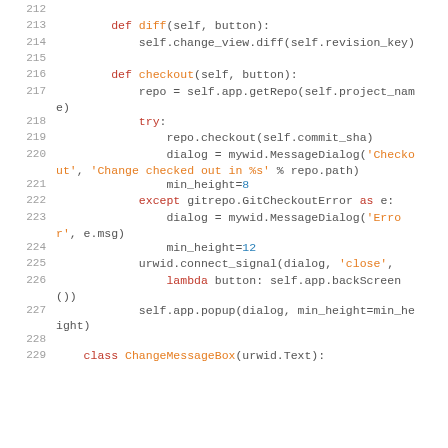[Figure (screenshot): Python source code snippet showing methods diff, checkout, and class ChangeMessageBox with syntax highlighting, line numbers 212-229]